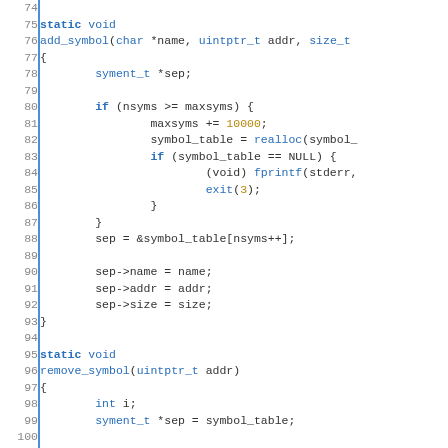[Figure (screenshot): Source code listing in C showing add_symbol and remove_symbol static void functions, with line numbers 74-103, syntax highlighted in blue/gold on white background.]